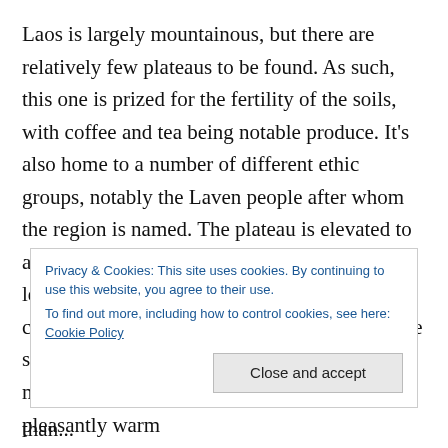Laos is largely mountainous, but there are relatively few plateaus to be found. As such, this one is prized for the fertility of the soils, with coffee and tea being notable produce. It's also home to a number of different ethic groups, notably the Laven people after whom the region is named. The plateau is elevated to a level of over a thousand metres above sea level, meaning that for most of the year the climate is somewhat cooler and fresher than the surrounding areas. For a western tourist this is most welcome, the temperature being pleasantly warm
Privacy & Cookies: This site uses cookies. By continuing to use this website, you agree to their use.
To find out more, including how to control cookies, see here: Cookie Policy
Close and accept
than...